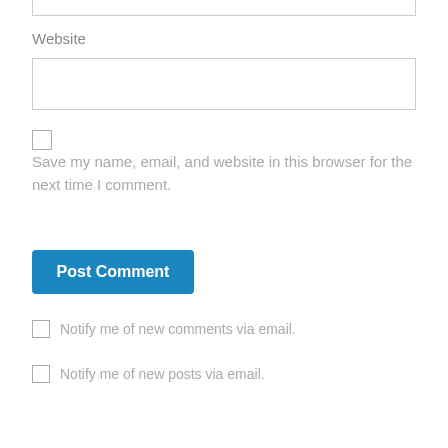Website
[Figure (screenshot): Website text input field (empty)]
[Figure (screenshot): Checkbox (unchecked) for saving name, email, and website]
Save my name, email, and website in this browser for the next time I comment.
[Figure (screenshot): Post Comment button (blue)]
Notify me of new comments via email.
Notify me of new posts via email.